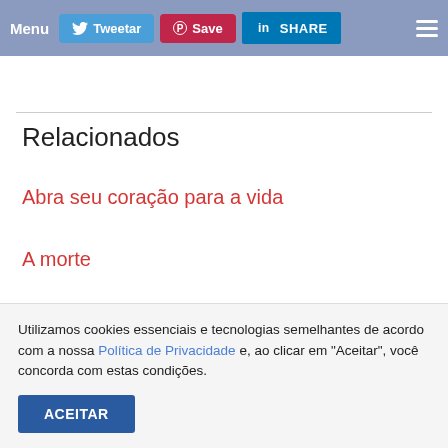Menu | Tweetar | Save | SHARE
Relacionados
Abra seu coração para a vida
A morte
A paixão
Utilizamos cookies essenciais e tecnologias semelhantes de acordo com a nossa Política de Privacidade e, ao clicar em "Aceitar", você concorda com estas condições.
ACEITAR